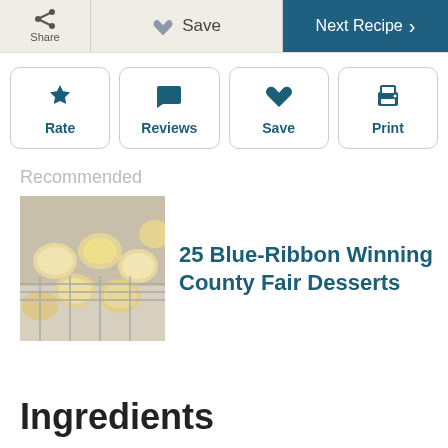Share | Save | Next Recipe
[Figure (screenshot): Action buttons row with Rate (star icon), Reviews (speech bubble icon), Save (heart icon), Print (printer icon)]
Recommended
[Figure (photo): Photo of baked coconut macaroons or similar cookies on a wire rack]
25 Blue-Ribbon Winning County Fair Desserts
Ingredients